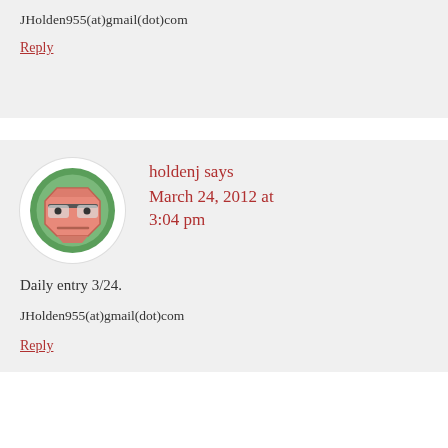JHolden955(at)gmail(dot)com
Reply
holdenj says March 24, 2012 at 3:04 pm
[Figure (illustration): Cartoon avatar of a hexagon-shaped face with glasses and a neutral expression, on a green circular background with white outer ring]
Daily entry 3/24.
JHolden955(at)gmail(dot)com
Reply